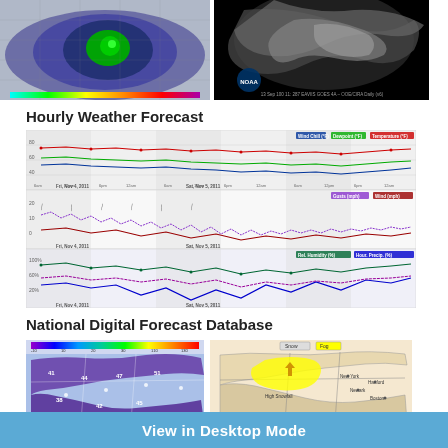[Figure (map): Radar/storm map showing green and blue precipitation areas over a geographic region]
[Figure (photo): Satellite image showing cloud formations over a dark background, NOAA logo visible]
Hourly Weather Forecast
[Figure (line-chart): Three-panel hourly weather forecast chart showing temperature, wind speed/direction, and relative humidity/sky cover over time from Fri Nov 4 to Sat Nov 5 2011]
National Digital Forecast Database
[Figure (map): Color-coded precipitation/temperature forecast map of northeastern US]
[Figure (map): Forecast map of New York area showing weather zones with yellow highlighted region]
View in Desktop Mode